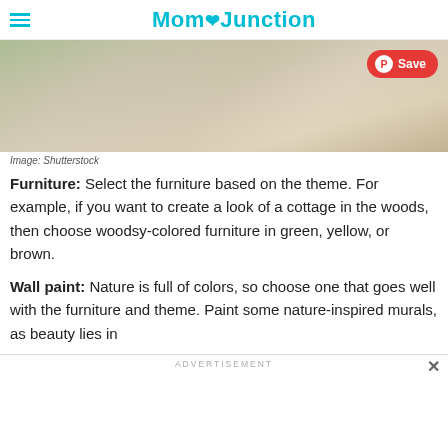MomJunction
[Figure (photo): Photo of cleaning supplies and rug on floor, with Pinterest Save button overlay]
Image: Shutterstock
Furniture: Select the furniture based on the theme. For example, if you want to create a look of a cottage in the woods, then choose woodsy-colored furniture in green, yellow, or brown.
Wall paint: Nature is full of colors, so choose one that goes well with the furniture and theme. Paint some nature-inspired murals, as beauty lies in
ADVERTISEMENT